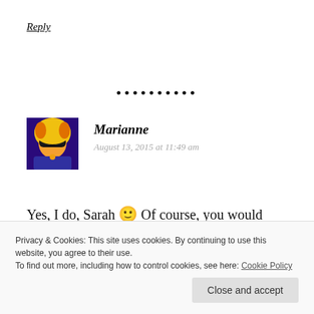Reply
•••••••••
[Figure (photo): Avatar photo of Marianne — colorful portrait with yellow/orange/blue hues, woman with sunglasses]
Marianne
August 13, 2015 at 11:49 am
Yes, I do, Sarah 🙂 Of course, you would need to live like the locals, buying mostly Spanish
Privacy & Cookies: This site uses cookies. By continuing to use this website, you agree to their use.
To find out more, including how to control cookies, see here: Cookie Policy
Close and accept
around 8-10 euros per person. Tie that in with a